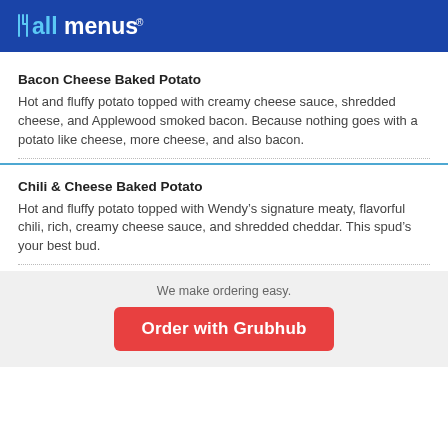allmenus
Bacon Cheese Baked Potato
Hot and fluffy potato topped with creamy cheese sauce, shredded cheese, and Applewood smoked bacon. Because nothing goes with a potato like cheese, more cheese, and also bacon.
Chili & Cheese Baked Potato
Hot and fluffy potato topped with Wendy’s signature meaty, flavorful chili, rich, creamy cheese sauce, and shredded cheddar. This spud’s your best bud.
We make ordering easy.
Order with Grubhub